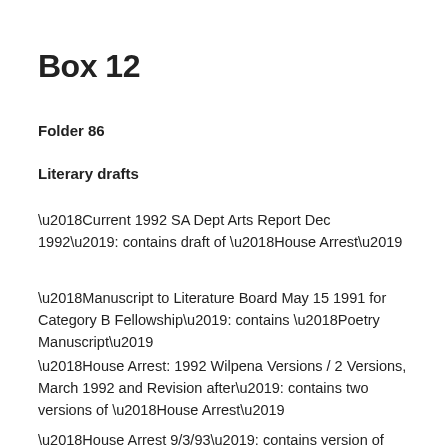Box 12
Folder 86
Literary drafts
‘Current 1992 SA Dept Arts Report Dec 1992’: contains draft of ‘House Arrest’
‘Manuscript to Literature Board May 15 1991 for Category B Fellowship’: contains ‘Poetry Manuscript’
‘House Arrest: 1992 Wilpena Versions / 2 Versions, March 1992 and Revision after’: contains two versions of ‘House Arrest’
‘House Arrest 9/3/93’: contains version of work sent to